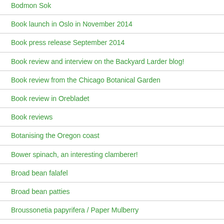Bodmon Sok
Book launch in Oslo in November 2014
Book press release September 2014
Book review and interview on the Backyard Larder blog!
Book review from the Chicago Botanical Garden
Book review in Orebladet
Book reviews
Botanising the Oregon coast
Bower spinach, an interesting clamberer!
Broad bean falafel
Broad bean patties
Broussonetia papyrifera / Paper Mulberry
Brøndegaard on the rubber dandelion, burdock and utilisation of